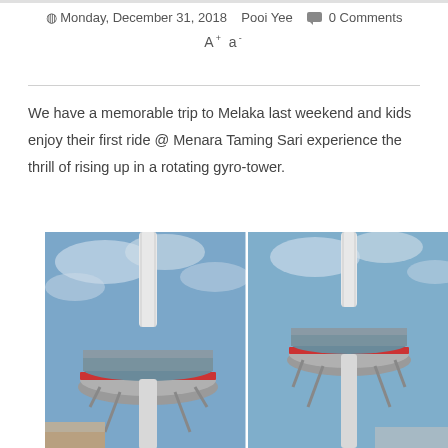Monday, December 31, 2018   Pooi Yee   0 Comments   A+ a-
We have a memorable trip to Melaka last weekend and kids enjoy their first ride @ Menara Taming Sari experience the thrill of rising up in a rotating gyro-tower.
[Figure (photo): Two side-by-side photos of the Menara Taming Sari gyro-tower in Melaka, Malaysia. Both photos show the circular rotating observation pod mounted on a tall white cylindrical tower against a blue sky with clouds. The left photo shows the tower from a closer angle looking up, showing the disc-shaped pod with red trim and mechanical supports. The right photo shows a similar view with the pod slightly higher on the tower.]